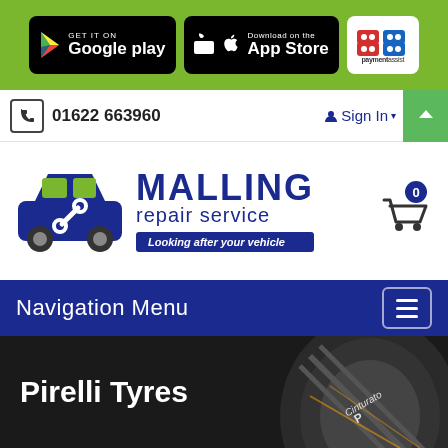[Figure (screenshot): Top green bar with Google Play badge, App Store badge, and paymentassist logo]
01622 663960
Sign In
[Figure (logo): Malling Repair Service logo with car icon and tagline 'Looking after your vehicle']
Navigation Menu
Pirelli Tyres
Search Tyres by Vehicle Registration